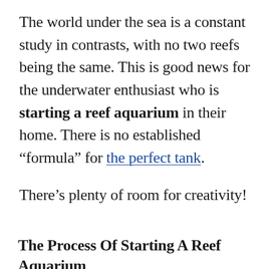The world under the sea is a constant study in contrasts, with no two reefs being the same. This is good news for the underwater enthusiast who is starting a reef aquarium in their home. There is no established "formula" for the perfect tank.
There's plenty of room for creativity!
The Process Of Starting A Reef Aquarium